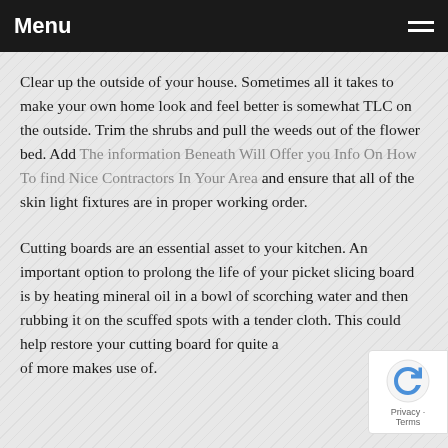Menu
Clear up the outside of your house. Sometimes all it takes to make your own home look and feel better is somewhat TLC on the outside. Trim the shrubs and pull the weeds out of the flower bed. Add The information Beneath Will Offer you Info On How To find Nice Contractors In Your Area and ensure that all of the skin light fixtures are in proper working order.
Cutting boards are an essential asset to your kitchen. An important option to prolong the life of your picket slicing board is by heating mineral oil in a bowl of scorching water and then rubbing it on the scuffed spots with a tender cloth. This could help restore your cutting board for quite a of more makes use of.